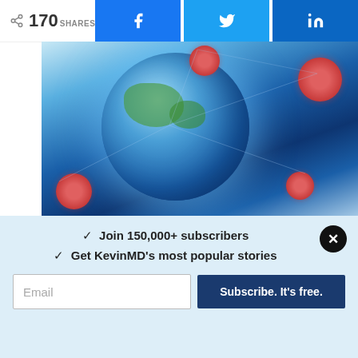170 SHARES
[Figure (photo): Digital illustration of coronavirus particles surrounding a glowing Earth globe with network connections]
When a trauma surgeon is sick and afraid to die
HISLA BATES, MD
[Figure (photo): Medical exam room wall with blood pressure monitor and other medical equipment mounted, teal wall section visible]
✓  Join 150,000+ subscribers
✓  Get KevinMD's most popular stories
Email
Subscribe. It's free.